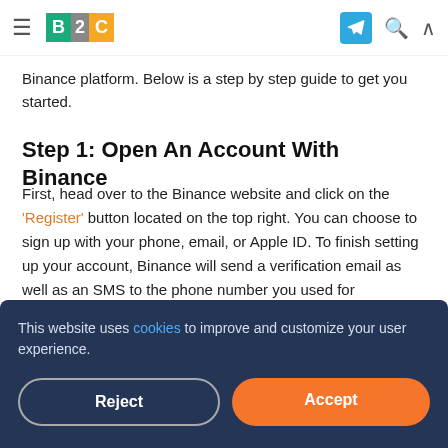≡  B2C  [logo]  [telegram icon]  [search icon]  [up icon]
Binance platform. Below is a step by step guide to get you started.
Step 1: Open An Account With Binance
First, head over to the Binance website and click on the 'Register' button located on the top right. You can choose to sign up with your phone, email, or Apple ID. To finish setting up your account, Binance will send a verification email as well as an SMS to the phone number you used for
This website uses cookies to improve and customize your user experience.
Reject
Accept